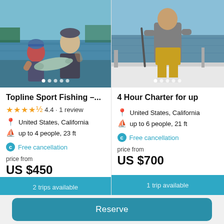[Figure (photo): Two people on a boat holding a large fish, waterway in background]
Topline Sport Fishing –...
4.4 · 1 review
United States, California
up to 4 people, 23 ft
Free cancellation
price from
US $450
2 trips available
[Figure (photo): Person standing on a boat holding fishing equipment, open water background]
4 Hour Charter for up
United States, California
up to 6 people, 21 ft
Free cancellation
price from
US $700
1 trip available
Reserve